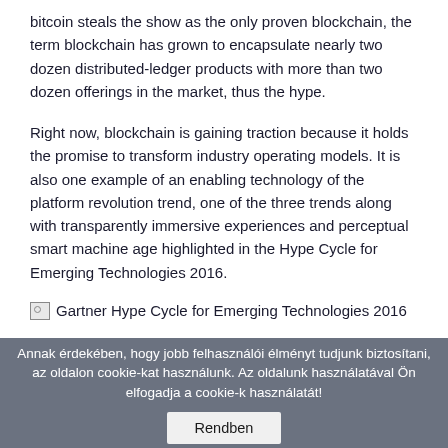bitcoin steals the show as the only proven blockchain, the term blockchain has grown to encapsulate nearly two dozen distributed-ledger products with more than two dozen offerings in the market, thus the hype.
Right now, blockchain is gaining traction because it holds the promise to transform industry operating models. It is also one example of an enabling technology of the platform revolution trend, one of the three trends along with transparently immersive experiences and perceptual smart machine age highlighted in the Hype Cycle for Emerging Technologies 2016.
[Figure (other): Broken image placeholder with alt text: Gartner Hype Cycle for Emerging Technologies 2016]
Annak érdekében, hogy jobb felhasználói élményt tudjunk biztosítani, az oldalon cookie-kat használunk. Az oldalunk használatával Ön elfogadja a cookie-k használatát! Rendben